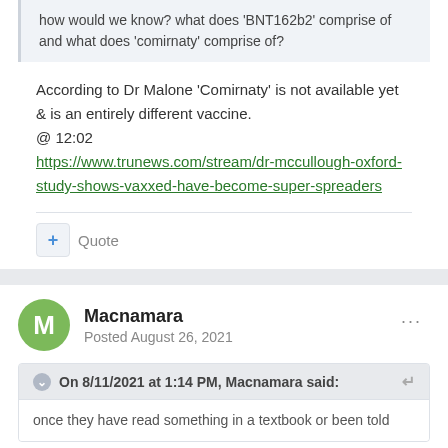how would we know? what does 'BNT162b2' comprise of and what does 'comirnaty' comprise of?
According to Dr Malone 'Comirnaty' is not available yet & is an entirely different vaccine.
@ 12:02
https://www.trunews.com/stream/dr-mccullough-oxford-study-shows-vaxxed-have-become-super-spreaders
Quote
Macnamara
Posted August 26, 2021
On 8/11/2021 at 1:14 PM, Macnamara said:
once they have read something in a textbook or been told